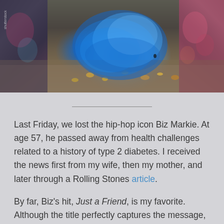[Figure (photo): Outdoor scene with vivid blue smoke cloud spreading in a graffiti-covered alley or underpass, with autumn leaves on the ground and colorful graffiti visible on walls to the left and right.]
Last Friday, we lost the hip-hop icon Biz Markie. At age 57, he passed away from health challenges related to a history of type 2 diabetes. I received the news first from my wife, then my mother, and later through a Rolling Stones article.
By far, Biz's hit, Just a Friend, is my favorite. Although the title perfectly captures the message, I didn't